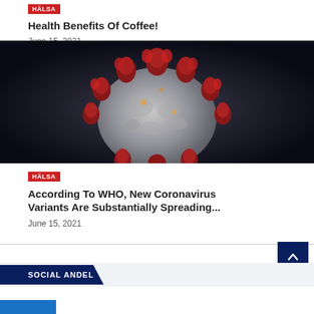HÄLSA
Health Benefits Of Coffee!
June 15, 2021
[Figure (photo): Close-up microscopic image of a coronavirus particle with red spike proteins on a dark background]
HÄLSA
According To WHO, New Coronavirus Variants Are Substantially Spreading...
June 15, 2021
SOCIAL ANDEL